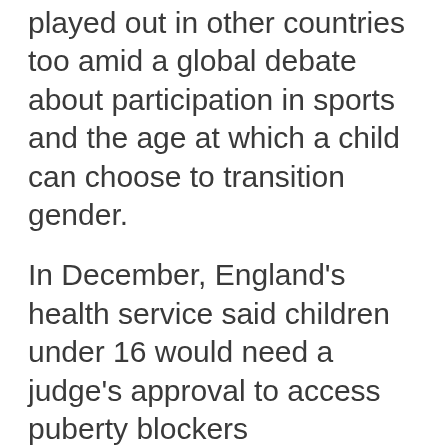played out in other countries too amid a global debate about participation in sports and the age at which a child can choose to transition gender.
In December, England's health service said children under 16 would need a judge's approval to access puberty blockers
We use cookies
We use cookies and other tracking technologies to improve your browsing experience on our website, to show you personalized content and targeted ads, to analyze our website traffic, and to understand where our visitors are coming from.